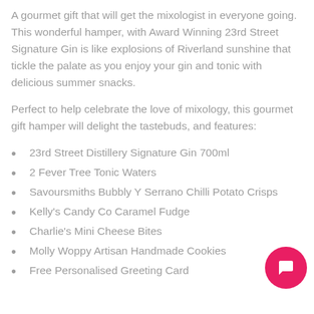A gourmet gift that will get the mixologist in everyone going. This wonderful hamper, with Award Winning 23rd Street Signature Gin is like explosions of Riverland sunshine that tickle the palate as you enjoy your gin and tonic with delicious summer snacks.
Perfect to help celebrate the love of mixology, this gourmet gift hamper will delight the tastebuds, and features:
23rd Street Distillery Signature Gin 700ml
2 Fever Tree Tonic Waters
Savoursmiths Bubbly Y Serrano Chilli Potato Crisps
Kelly's Candy Co Caramel Fudge
Charlie's Mini Cheese Bites
Molly Woppy Artisan Handmade Cookies
Free Personalised Greeting Card